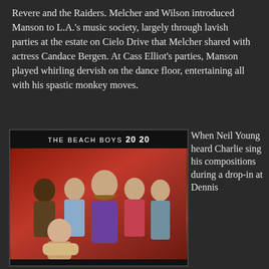Revere and the Raiders. Melcher and Wilson introduced Manson to L.A.'s music society, largely through lavish parties at the estate on Cielo Drive that Melcher shared with actress Candace Bergen. At Cass Elliot's parties, Manson played whirling dervish on the dance floor, entertaining all with his spastic monkey moves.
[Figure (photo): The Beach Boys 20/20 album cover showing the band members posing against a red background, with album title text at top]
When Neil Young heard Charlie sing his compositions during a drop-in at Dennis